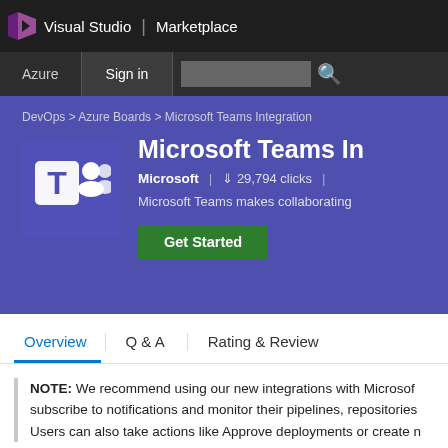Visual Studio | Marketplace
[Figure (screenshot): Secondary navigation bar with Azure, Sign in, and search box]
[Figure (logo): Microsoft Teams logo — white T on purple background with people icons]
DevOps > Azure Boards > Microsoft Teams Integration
Microsoft Teams In
Microsoft | 29,794 clicks |
Microsoft Teams makes collaborating
Get Started
Overview   Q & A   Rating & Review
NOTE: We recommend using our new integrations with Microsof subscribe to notifications and monitor their pipelines, repositories Users can also take actions like Approve deployments or create n